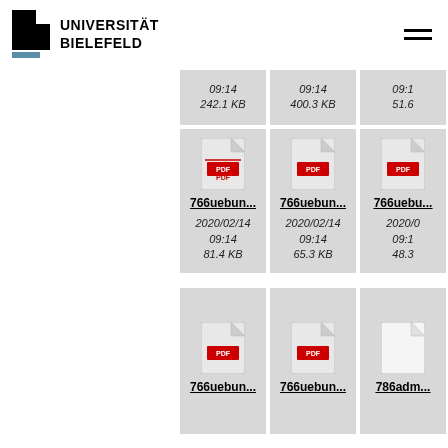UNIVERSITÄT BIELEFELD
[Figure (screenshot): File browser grid showing PDF files from Universität Bielefeld. Top row shows file metadata: 09:14 / 242.1 KB, 09:14 / 400.3 KB, 09:1... / 51.6... KB. Middle row shows PDF icons with names 766uebun..., 766uebun..., 766uebu... and metadata 2020/02/14 09:14 81.4 KB, 2020/02/14 09:14 65.3 KB, 2020/0... 09:1... 48.3... Bottom row shows PDF icons with names 766uebun..., 766uebun..., 786adm...]